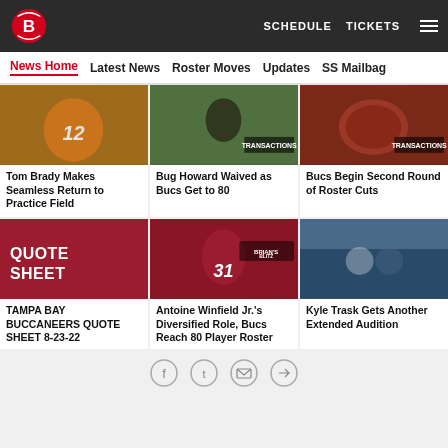Tampa Bay Buccaneers — SCHEDULE   TICKETS
News Home   Latest News   Roster Moves   Updates   SS Mailbag
[Figure (photo): Tom Brady in orange jersey #12 pointing during practice]
Tom Brady Makes Seamless Return to Practice Field
[Figure (photo): Bug Howard waived — player on practice field with TRANSACTIONS badge]
Bug Howard Waived as Bucs Get to 80
[Figure (photo): Buccaneers helmet with TRANSACTIONS badge]
Bucs Begin Second Round of Roster Cuts
[Figure (photo): Red QUOTE SHEET graphic]
TAMPA BAY BUCCANEERS QUOTE SHEET 8-23-22
[Figure (photo): Antoine Winfield Jr. #31 in red uniform with Brian's Blitz badge]
Antoine Winfield Jr.'s Diversified Role, Bucs Reach 80 Player Roster
[Figure (photo): Kyle Trask during a game with blue/white teams]
Kyle Trask Gets Another Extended Audition